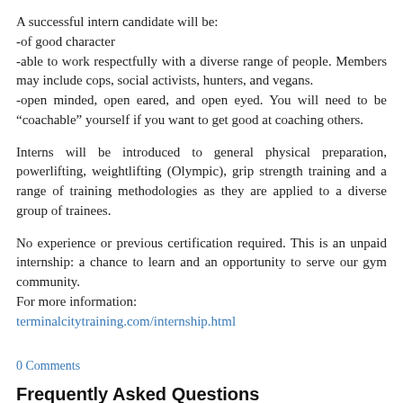A successful intern candidate will be:
-of good character
-able to work respectfully with a diverse range of people. Members may include cops, social activists, hunters, and vegans.
-open minded, open eared, and open eyed. You will need to be “coachable” yourself if you want to get good at coaching others.
Interns will be introduced to general physical preparation, powerlifting, weightlifting (Olympic), grip strength training and a range of training methodologies as they are applied to a diverse group of trainees.
No experience or previous certification required. This is an unpaid internship: a chance to learn and an opportunity to serve our gym community.
For more information:
terminalcitytraining.com/internship.html
0 Comments
Frequently Asked Questions